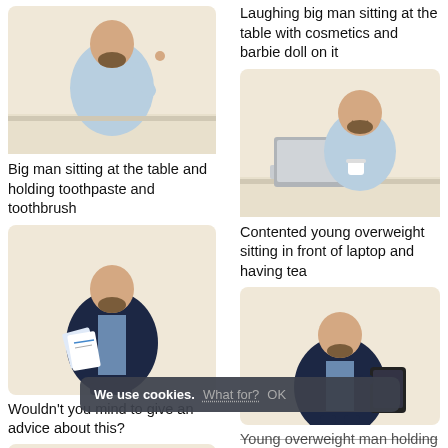[Figure (photo): Big man sitting at the table and holding toothpaste and toothbrush, beige background]
Big man sitting at the table and holding toothpaste and toothbrush
[Figure (photo): Man in dark suit holding documents/papers and standing, beige background]
Wouldn't you mind to give an advice about this?
[Figure (photo): Partial view of another figure at bottom left, cropped]
Laughing big man sitting at the table with cosmetics and barbie doll on it
[Figure (photo): Contented young overweight man sitting in front of laptop and having tea, beige background]
Contented young overweight sitting in front of laptop and having tea
[Figure (photo): Young overweight man holding digital tablet, beige background, partially visible]
Young overweight man holding digital tablet
We use cookies.  What for?  OK